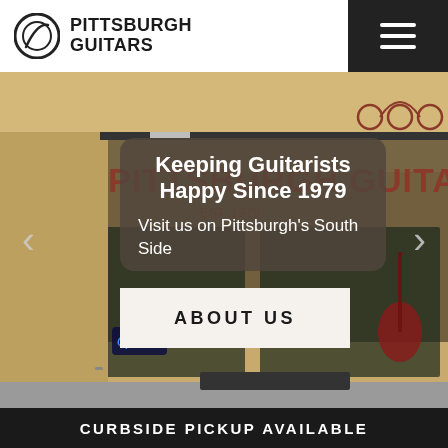Pittsburgh Guitars
[Figure (photo): Storefront of Pittsburgh Guitars on Pittsburgh's South Side, showing the shop exterior with signage reading 'PITTSBURGH GUITARS EST. 1979', guitars visible in the window display, and an open sign.]
Keeping Guitarists Happy Since 1979
Visit us on Pittsburgh’s South Side
ABOUT US
CURBSIDE PICKUP AVAILABLE